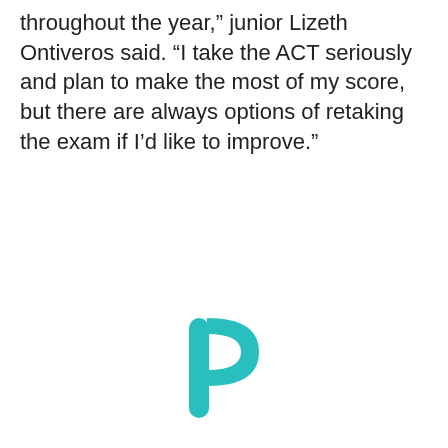throughout the year,” junior Lizeth Ontiveros said. “I take the ACT seriously and plan to make the most of my score, but there are always options of retaking the exam if I’d like to improve.”
[Figure (logo): Teal/turquoise stylized letter P logo with a curved cutout, resembling the Podium or similar app logo]
Loading...